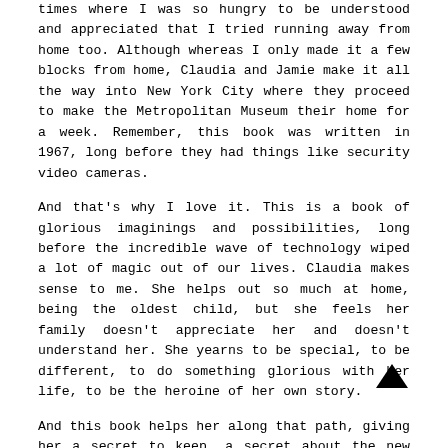times where I was so hungry to be understood and appreciated that I tried running away from home too. Although whereas I only made it a few blocks from home, Claudia and Jamie make it all the way into New York City where they proceed to make the Metropolitan Museum their home for a week. Remember, this book was written in 1967, long before they had things like security video cameras.
And that's why I love it. This is a book of glorious imaginings and possibilities, long before the incredible wave of technology wiped a lot of magic out of our lives. Claudia makes sense to me. She helps out so much at home, being the oldest child, but she feels her family doesn't appreciate her and doesn't understand her. She yearns to be special, to be different, to do something glorious with her life, to be the heroine of her own story.
And this book helps her along that path, giving her a secret to keep, a secret about the new Angel statue at the museum that may or may not have been carved by Michelangelo, but she and Jamie discover the truth by tracking down the prior owner, Mrs. Basil E. Frankweiler.